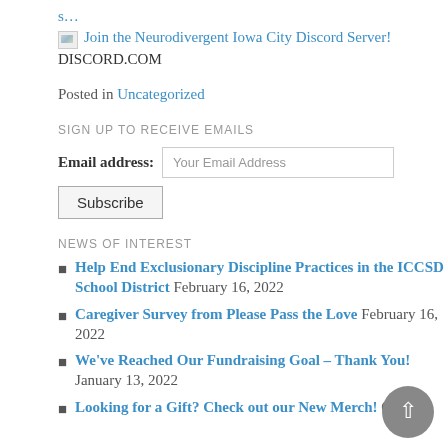s…
[image] Join the Neurodivergent Iowa City Discord Server!
DISCORD.COM
Posted in Uncategorized
SIGN UP TO RECEIVE EMAILS
Email address: Your Email Address
Subscribe
NEWS OF INTEREST
Help End Exclusionary Discipline Practices in the ICCSD School District February 16, 2022
Caregiver Survey from Please Pass the Love February 16, 2022
We've Reached Our Fundraising Goal – Thank You! January 13, 2022
Looking for a Gift? Check out our New Merch! October